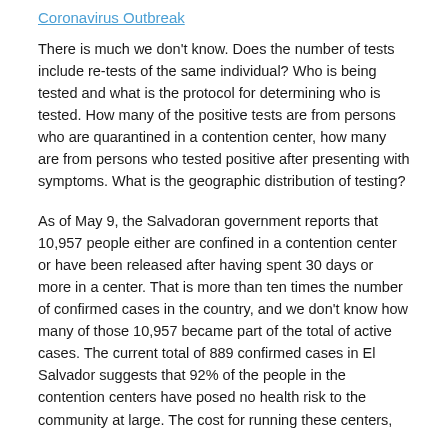Coronavirus Outbreak
There is much we don't know. Does the number of tests include re-tests of the same individual? Who is being tested and what is the protocol for determining who is tested. How many of the positive tests are from persons who are quarantined in a contention center, how many are from persons who tested positive after presenting with symptoms. What is the geographic distribution of testing?
As of May 9, the Salvadoran government reports that 10,957 people either are confined in a contention center or have been released after having spent 30 days or more in a center. That is more than ten times the number of confirmed cases in the country, and we don't know how many of those 10,957 became part of the total of active cases. The current total of 889 confirmed cases in El Salvador suggests that 92% of the people in the contention centers have posed no health risk to the community at large. The cost for running these centers,